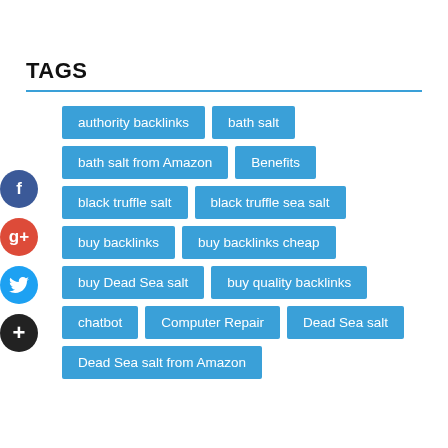TAGS
authority backlinks
bath salt
bath salt from Amazon
Benefits
black truffle salt
black truffle sea salt
buy backlinks
buy backlinks cheap
buy Dead Sea salt
buy quality backlinks
chatbot
Computer Repair
Dead Sea salt
Dead Sea salt from Amazon